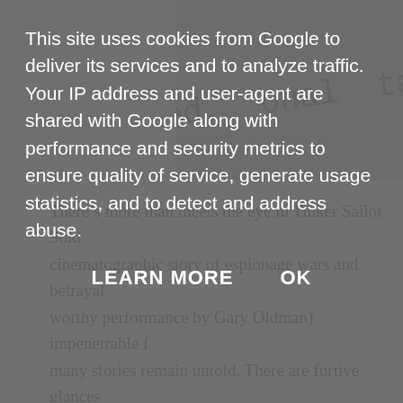This site uses cookies from Google to deliver its services and to analyze traffic. Your IP address and user-agent are shared with Google along with performance and security metrics to ensure quality of service, generate usage statistics, and to detect and address abuse.
LEARN MORE    OK
[Figure (screenshot): Partial newspaper/book page with typed text visible showing letters 'ned...onal...tac...' in monospace style, suggesting a document or article scan.]
There’s more than meets the eye in Tinker Sailor Sold cinematographic story of espionage wars and betrayal worthy performance by Gary Oldman) impenetrable f many stories remain untold. There are furtive glances night train and there’s the incessant elevator that shifts intervals. In between the lines and in between the scen Glimpses of death and torture, double talk, forbidden pass behind transcriptions of phone calls and the trem